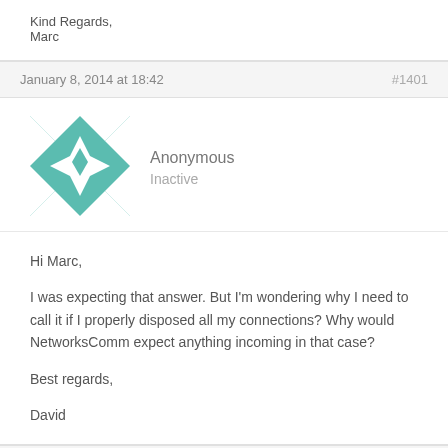Kind Regards,
Marc
January 8, 2014 at 18:42 #1401
[Figure (illustration): Teal and white geometric/quilt-pattern avatar icon for Anonymous user]
Anonymous
Inactive
Hi Marc,

I was expecting that answer. But I'm wondering why I need to call it if I properly disposed all my connections? Why would NetworksComm expect anything incoming in that case?

Best regards,

David
January 9, 2014 at 12:21 #1413
[Figure (illustration): Teal and white geometric/quilt-pattern avatar icon for Anonymous user]
Anonymous
Inactive